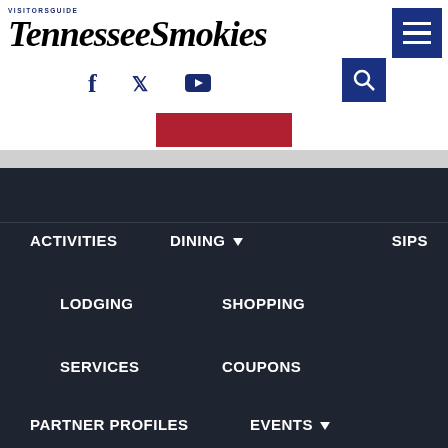[Figure (logo): Tennessee Smokies Visitors Guide logo — large italic serif black text with small 'VISITORS GUIDE' label above]
[Figure (screenshot): Navigation menu button (hamburger icon) — dark navy blue square with three white horizontal bars]
[Figure (screenshot): Social media icons — Facebook, Twitter, YouTube in dark navy]
[Figure (screenshot): Search button — dark navy blue square with magnifying glass icon]
[Figure (screenshot): Red button partially visible in center of page]
ACTIVITIES
DINING
SIPS
LODGING
SHOPPING
SERVICES
COUPONS
PARTNER PROFILES
EVENTS